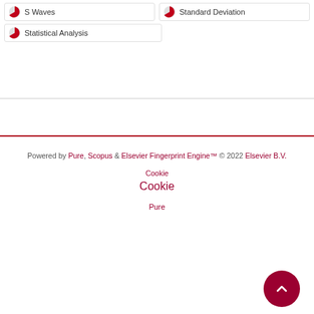S Waves
Standard Deviation
Statistical Analysis
Powered by Pure, Scopus & Elsevier Fingerprint Engine™ © 2022 Elsevier B.V.
Cookie
Cookie
Pure